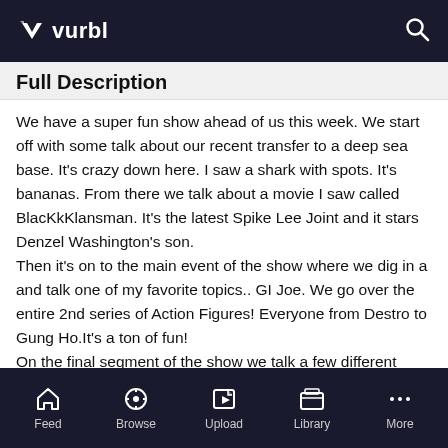vurbl
Full Description
We have a super fun show ahead of us this week. We start off with some talk about our recent transfer to a deep sea base. It's crazy down here. I saw a shark with spots. It's bananas. From there we talk about a movie I saw called BlacKkKlansman. It's the latest Spike Lee Joint and it stars Denzel Washington's son.
Then it's on to the main event of the show where we dig in a and talk one of my favorite topics.. GI Joe. We go over the entire 2nd series of Action Figures! Everyone from Destro to Gung Ho.It's a ton of fun!
On the final segment of the show we talk a few different things, Megos, being under the sea and we take a fun voicemail. Make sure to hop on over to Support The Report and check out how you can get the ISR Supertape VHS Tape! While helping to
Feed  Browse  Upload  Library  More